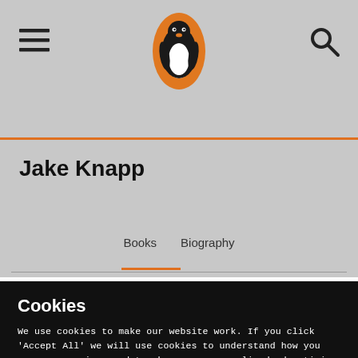Penguin Books – Jake Knapp author page
[Figure (logo): Penguin Books logo — orange oval with black penguin silhouette]
Jake Knapp
Books   Biography
Cookies
We use cookies to make our website work. If you click 'Accept All' we will use cookies to understand how you use our services and to show you personalised advertising and other content. You can change your cookie settings by clicking 'Manage Cookies'. For more information please see our cookie policy